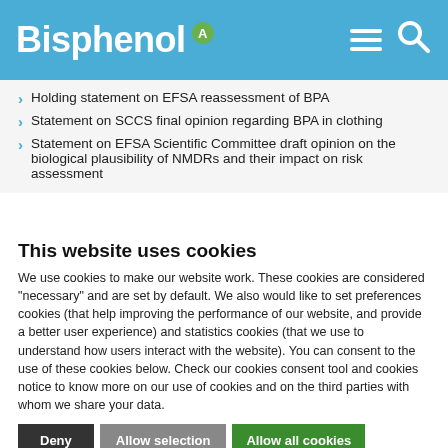Bisphenol A
Holding statement on EFSA reassessment of BPA
Statement on SCCS final opinion regarding BPA in clothing
Statement on EFSA Scientific Committee draft opinion on the biological plausibility of NMDRs and their impact on risk assessment
This website uses cookies
We use cookies to make our website work. These cookies are considered "necessary" and are set by default. We also would like to set preferences cookies (that help improving the performance of our website, and provide a better user experience) and statistics cookies (that we use to understand how users interact with the website). You can consent to the use of these cookies below. Check our cookies consent tool and cookies notice to know more on our use of cookies and on the third parties with whom we share your data.
Deny | Allow selection | Allow all cookies
Necessary | Preferences | Statistics | Marketing | Show details